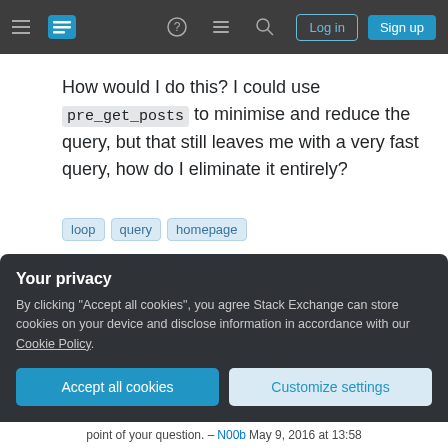Stack Exchange navigation bar with hamburger menu, logo, help, chat, search icons, Log in and Sign up buttons
How would I do this? I could use pre_get_posts to minimise and reduce the query, but that still leaves me with a very fast query, how do I eliminate it entirely?
loop
query
homepage
Share
Improve this question
Follow
asked May 9, 2016 at 13:03
Tom J Nowell ◆
53.5k ● 7 ● 70 ● 136
Your privacy
By clicking "Accept all cookies", you agree Stack Exchange can store cookies on your device and disclose information in accordance with our Cookie Policy.
Accept all cookies
Customize settings
point of your question. – N00b May 9, 2016 at 13:58